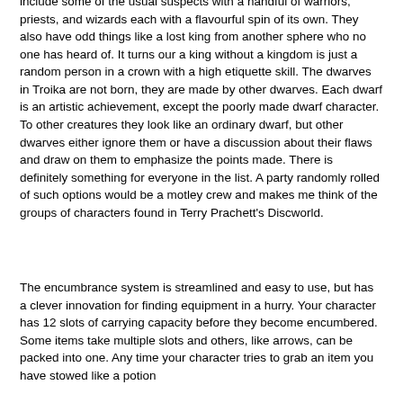include some of the usual suspects with a handful of warriors, priests, and wizards each with a flavourful spin of its own. They also have odd things like a lost king from another sphere who no one has heard of. It turns our a king without a kingdom is just a random person in a crown with a high etiquette skill. The dwarves in Troika are not born, they are made by other dwarves. Each dwarf is an artistic achievement, except the poorly made dwarf character. To other creatures they look like an ordinary dwarf, but other dwarves either ignore them or have a discussion about their flaws and draw on them to emphasize the points made. There is definitely something for everyone in the list. A party randomly rolled of such options would be a motley crew and makes me think of the groups of characters found in Terry Prachett's Discworld.
The encumbrance system is streamlined and easy to use, but has a clever innovation for finding equipment in a hurry. Your character has 12 slots of carrying capacity before they become encumbered. Some items take multiple slots and others, like arrows, can be packed into one. Any time your character tries to grab an item you have stowed like a potion